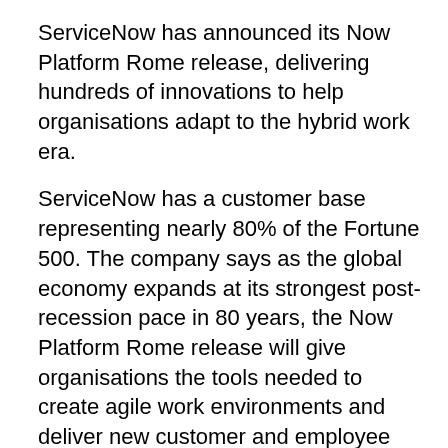ServiceNow has announced its Now Platform Rome release, delivering hundreds of innovations to help organisations adapt to the hybrid work era.
ServiceNow has a customer base representing nearly 80% of the Fortune 500. The company says as the global economy expands at its strongest post-recession pace in 80 years, the Now Platform Rome release will give organisations the tools needed to create agile work environments and deliver new customer and employee experiences. The latest platform release brings a number of new AI and automation capabilities, allowing IT teams to adjust to new working methods.
"The rapid onset of hybrid work has accelerated the digital imperative and forever changed 21st-century business models," says ServiceNow chief product and engineering officer, Chirantan "CJ" Desai.